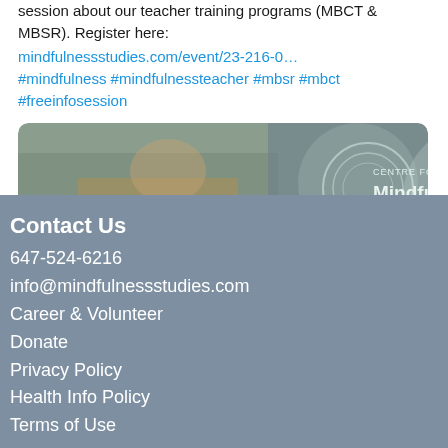session about our teacher training programs (MBCT & MBSR). Register here: mindfulnessstudies.com/event/23-216-0… #mindfulness #mindfulnessteacher #mbsr #mbct #freeinfosession
[Figure (photo): Banner image with Centre for Mindfulness Studies logo and branding, showing a person in the background.]
Contact Us
647-524-6216
info@mindfulnessstudies.com
Career & Volunteer
Donate
Privacy Policy
Health Info Policy
Terms of Use